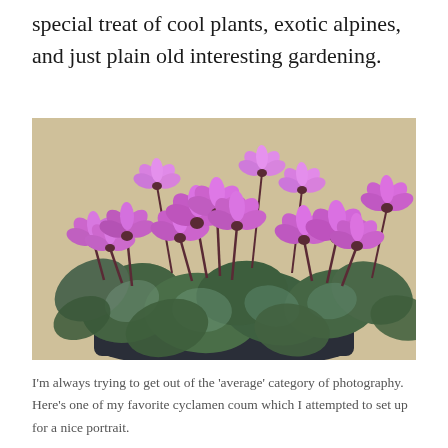special treat of cool plants, exotic alpines, and just plain old interesting gardening.
[Figure (photo): A potted cyclamen coum plant with numerous bright purple/pink swept-back flowers on dark reddish stems above rounded blue-green patterned leaves, in a dark pot, photographed against a warm beige background.]
I'm always trying to get out of the 'average' category of photography. Here's one of my favorite cyclamen coum which I attempted to set up for a nice portrait.